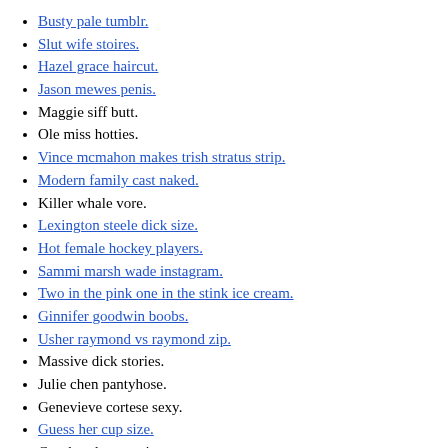Busty pale tumblr.
Slut wife stoires.
Hazel grace haircut.
Jason mewes penis.
Maggie siff butt.
Ole miss hotties.
Vince mcmahon makes trish stratus strip.
Modern family cast naked.
Killer whale vore.
Lexington steele dick size.
Hot female hockey players.
Sammi marsh wade instagram.
Two in the pink one in the stink ice cream.
Ginnifer goodwin boobs.
Usher raymond vs raymond zip.
Massive dick stories.
Julie chen pantyhose.
Genevieve cortese sexy.
Guess her cup size.
Cast bondage stories.
Bhm ffa stories.
Godzilla and mothra in love.
Don't Wake Daddy Rules – How to Play Instructions (Updated )